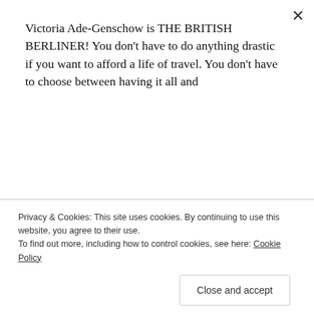Victoria Ade-Genschow is THE BRITISH BERLINER! You don't have to do anything drastic if you want to afford a life of travel. You don't have to choose between having it all and
Subscribe
[Figure (infographic): Dark rounded rectangle badge reading 'Featured on Travel Massive' with an upvote triangle and number 8]
Privacy & Cookies: This site uses cookies. By continuing to use this website, you agree to their use.
To find out more, including how to control cookies, see here: Cookie Policy
Close and accept